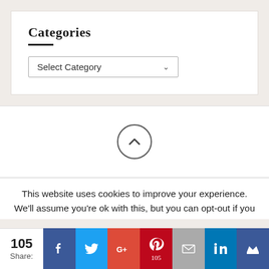Categories
[Figure (screenshot): A dropdown widget labeled 'Select Category' with a chevron arrow, inside a white bordered box.]
[Figure (other): A circular scroll-to-top button with an upward chevron icon, centered on a white background section.]
This website uses cookies to improve your experience. We'll assume you're ok with this, but you can opt-out if you
[Figure (infographic): Social share bar with count 105 and Share label, followed by buttons for Facebook, Twitter, Google+, Pinterest (105), Email, LinkedIn, and a crown icon.]